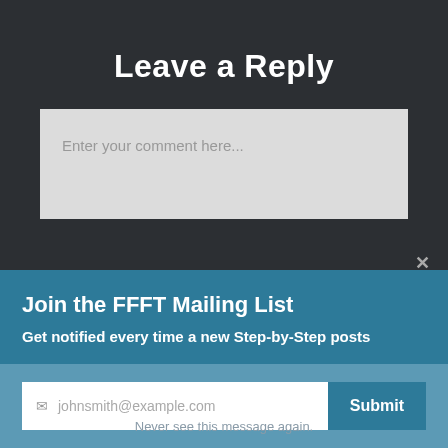Leave a Reply
Enter your comment here...
×
Join the FFFT Mailing List
Get notified every time a new Step-by-Step posts
johnsmith@example.com  Submit
Never see this message again.